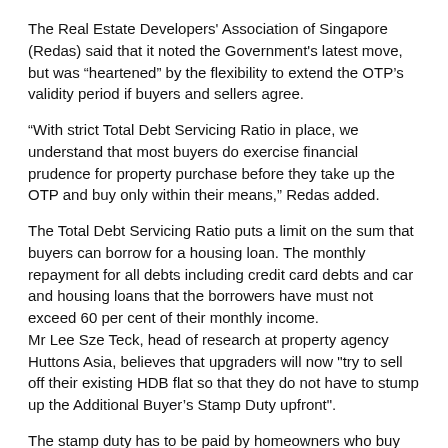The Real Estate Developers' Association of Singapore (Redas) said that it noted the Government's latest move, but was “heartened” by the flexibility to extend the OTP’s validity period if buyers and sellers agree.
“With strict Total Debt Servicing Ratio in place, we understand that most buyers do exercise financial prudence for property purchase before they take up the OTP and buy only within their means,” Redas added.
The Total Debt Servicing Ratio puts a limit on the sum that buyers can borrow for a housing loan. The monthly repayment for all debts including credit card debts and car and housing loans that the borrowers have must not exceed 60 per cent of their monthly income.
Mr Lee Sze Teck, head of research at property agency Huttons Asia, believes that upgraders will now "try to sell off their existing HDB flat so that they do not have to stump up the Additional Buyer’s Stamp Duty upfront".
The stamp duty has to be paid by homeowners who buy their second and more properties. For Singaporeans, the duty is at 12 per cent of the property price.